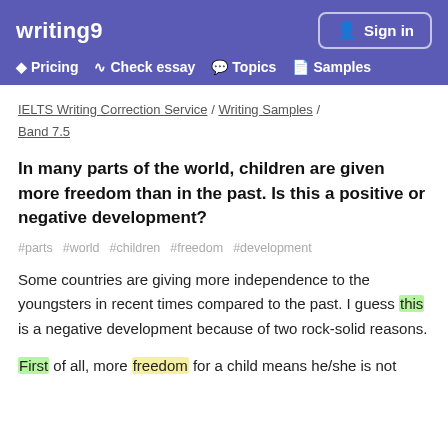writing9 | Sign in | Pricing | Check essay | Topics | Samples
IELTS Writing Correction Service / Writing Samples / Band 7.5
In many parts of the world, children are given more freedom than in the past. Is this a positive or negative development?
#parts #world #children #freedom #development
Some countries are giving more independence to the youngsters in recent times compared to the past. I guess this is a negative development because of two rock-solid reasons.
First of all, more freedom for a child means he/she is not